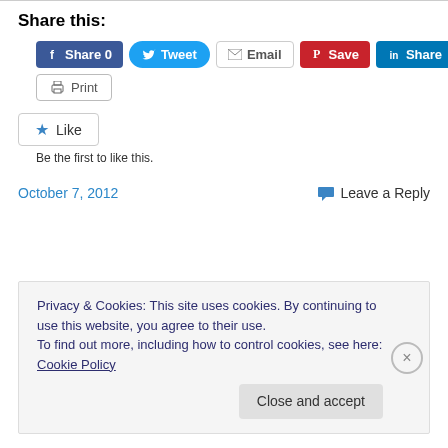Share this:
[Figure (infographic): Social sharing buttons: Facebook Share 0, Twitter Tweet, Email, Pinterest Save, LinkedIn Share, Print]
[Figure (infographic): Like button with star icon, text: Be the first to like this.]
October 7, 2012
Leave a Reply
Privacy & Cookies: This site uses cookies. By continuing to use this website, you agree to their use.
To find out more, including how to control cookies, see here: Cookie Policy
Close and accept